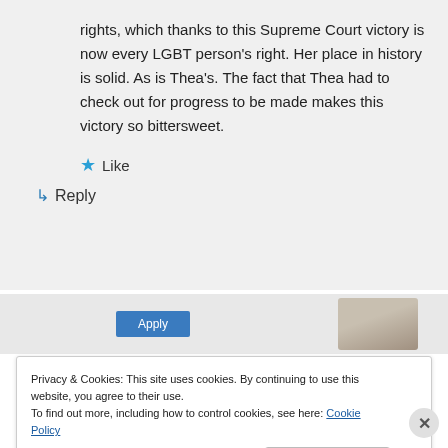rights, which thanks to this Supreme Court victory is now every LGBT person's right. Her place in history is solid. As is Thea's. The fact that Thea had to check out for progress to be made makes this victory so bittersweet.
★ Like
↳ Reply
Privacy & Cookies: This site uses cookies. By continuing to use this website, you agree to their use.
To find out more, including how to control cookies, see here: Cookie Policy
Close and accept